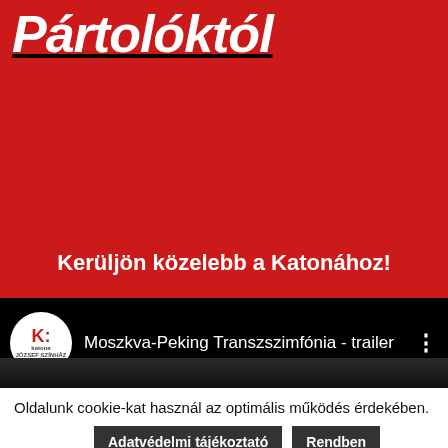Pártolóktól
Kerüljön közelebb a Katonához!
[Figure (screenshot): YouTube video bar showing Katona József Színház logo and video title 'Moszkva-Peking Transzszimfónia - trailer' with three-dot menu icon on black background]
Oldalunk cookie-kat használ az optimális működés érdekében.
Adatvédelmi tájékoztató
Rendben